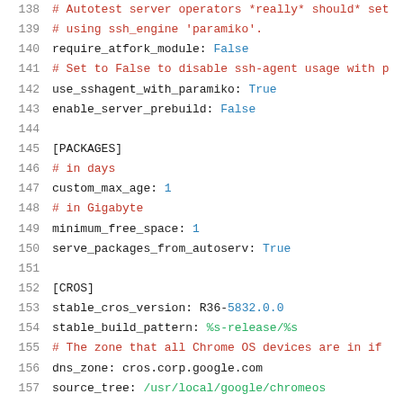Code snippet showing configuration file lines 138-159 with sections for server settings, PACKAGES, and CROS
138  # Autotest server operators *really* should* set
139  # using ssh_engine 'paramiko'.
140  require_atfork_module: False
141  # Set to False to disable ssh-agent usage with p
142  use_sshagent_with_paramiko: True
143  enable_server_prebuild: False
144  (blank)
145  [PACKAGES]
146  # in days
147  custom_max_age: 1
148  # in Gigabyte
149  minimum_free_space: 1
150  serve_packages_from_autoserv: True
151  (blank)
152  [CROS]
153  stable_cros_version: R36-5832.0.0
154  stable_build_pattern: %s-release/%s
155  # The zone that all Chrome OS devices are in if
156  dns_zone: cros.corp.google.com
157  source_tree: /usr/local/google/chromeos
158  image_storage_server: gs://chromeos-image-archi
159  results_storage_server: gs://chromeos-autote